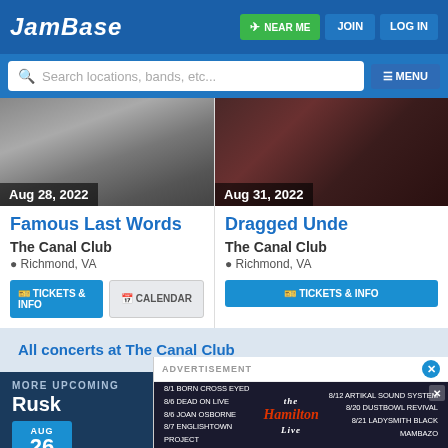JAMBASE | NEAR ME | JOIN | LOG IN
Search locations, bands, etc... | MENU
[Figure (photo): Band photo black and white - multiple band members sitting on floor]
Aug 28, 2022
Famous Last Words
The Canal Club
Richmond, VA
TICKETS & INFO | CALENDAR
[Figure (photo): Band photo dark background]
Aug 31, 2022
Dragged Under
The Canal Club
Richmond, VA
TICKETS & INFO
All concerts at The Canal Club
MORE UPCOMING
Rusk
AUG 26
ADVERTISEMENT
8/1 BORN CROSS EYED
8/6 DEAD ON LIVE
8/6 JOAN OSBORNE
8/7 ENGLISHTOWN PROJECT
[Figure (logo): The Hamilton Live logo in red cursive text]
8/12 ARTIKAL SOUND SYSTEM
8/20 DUSTBOWL REVIVAL
8/21 LADYSMITH BLACK MAMBAZO